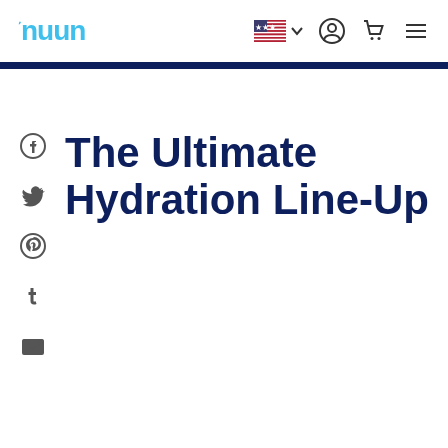nuun — The Ultimate Hydration Line-Up
The Ultimate Hydration Line-Up